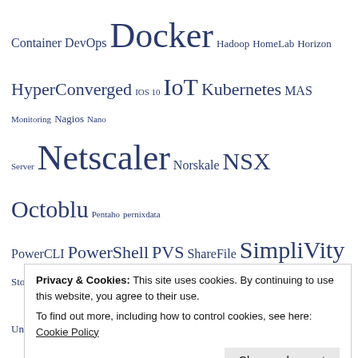Container DevOps Docker Hadoop HomeLab Horizon HyperConverged IOS 10 IoT Kubernetes MAS Monitoring Nagios Nano Server Netscaler Norskale NSX Octoblu Pentaho pernixdata PowerCLI PowerShell PVS ShareFile SimpliVity Storefront Tools Unidesk UPM VEEAM VMware vROps vSAN VVOL Windows Server 2016 wwdc XenDesktop
BlogRoll
Thomas Koetzing
Citrix Blogs
VCDX181 – Marc Huppert
Yellow-Brick – Duncan Epping
William Lam
Frank Denneman
Privacy & Cookies: This site uses cookies. By continuing to use this website, you agree to their use. To find out more, including how to control cookies, see here: Cookie Policy